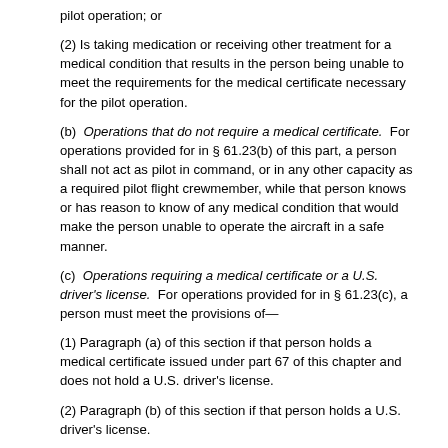pilot operation; or
(2) Is taking medication or receiving other treatment for a medical condition that results in the person being unable to meet the requirements for the medical certificate necessary for the pilot operation.
(b) Operations that do not require a medical certificate. For operations provided for in § 61.23(b) of this part, a person shall not act as pilot in command, or in any other capacity as a required pilot flight crewmember, while that person knows or has reason to know of any medical condition that would make the person unable to operate the aircraft in a safe manner.
(c) Operations requiring a medical certificate or a U.S. driver's license. For operations provided for in § 61.23(c), a person must meet the provisions of—
(1) Paragraph (a) of this section if that person holds a medical certificate issued under part 67 of this chapter and does not hold a U.S. driver's license.
(2) Paragraph (b) of this section if that person holds a U.S. driver's license.
[Doc. No. 25910, 62 FR 16298, Apr. 4, 1997, as amended by Amdt. 61-110, 69 FR 44866, July 27, 2004; Amdt. 61-124, 74 FR 42550, Aug. 21, 2009]